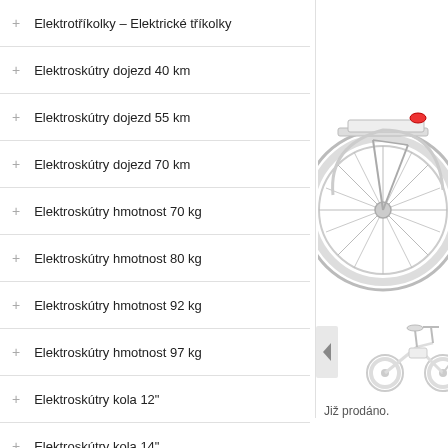Elektrotříkolky – Elektrické tříkolky
Elektroskútry dojezd 40 km
Elektroskútry dojezd 55 km
Elektroskútry dojezd 70 km
Elektroskútry hmotnost 70 kg
Elektroskútry hmotnost 80 kg
Elektroskútry hmotnost 92 kg
Elektroskútry hmotnost 97 kg
Elektroskútry kola 12"
Elektroskútry kola 14"
Elektroskútry kola 16"
Elektroskútry výkon 1000 W
Elektroskútry výkon 1600 W
Elektroskútry výkon 3000 W
[Figure (photo): Close-up of rear wheel of a white electric bicycle/scooter, showing the wheel, tire, and rear rack with a red light]
[Figure (photo): Small white folding electric bicycle shown from the side, with a battery pack visible on the frame]
Již prodáno.